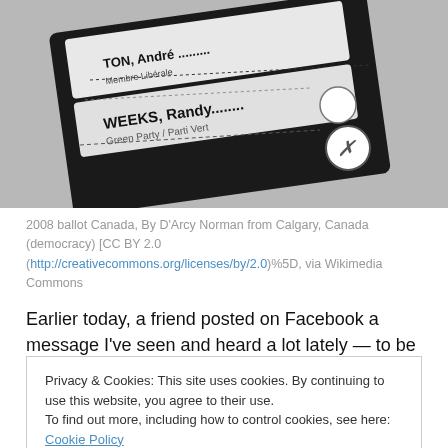[Figure (photo): Black and white photo of a 2008 Canadian federal election ballot showing candidate names including WEEKS, Randy (Green Party / Parti Vert) and others, with an X marked in a circle.]
2008 ballot Canada, By D'Arcy Norman from Calgary, Canada (democracy) [CC BY 2.0 (http://creativecommons.org/licenses/by/2.0)%5D, via Wikimedia Commons
Earlier today, a friend posted on Facebook a message I've seen and heard a lot lately — to be honest, I've said it
Privacy & Cookies: This site uses cookies. By continuing to use this website, you agree to their use.
To find out more, including how to control cookies, see here: Cookie Policy
Well, it turns out they don't. Not in federal elections, at